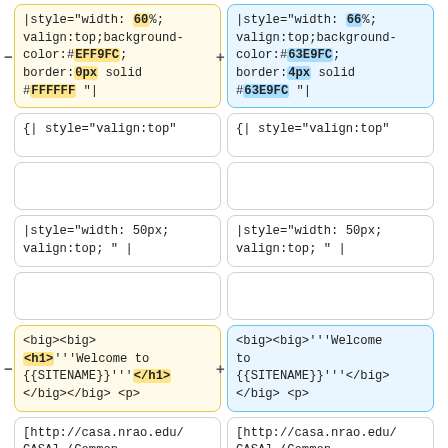|style="width: 60%; valign:top;background-color:#EFF9FC; border:0px solid #FFFFFF "|
|style="width: 66%; valign:top;background-color:#63E9FC; border:4px solid #63E9FC "|
{| style="valign:top"
{| style="valign:top"
|style="width: 50px; valign:top; " |
|style="width: 50px; valign:top; " |
<big><big><h1>'''Welcome to {{SITENAME}}'''</h1></big></big> <p>
<big><big>'''Welcome to {{SITENAME}}'''</big></big> <p>
[http://casa.nrao.edu/CASA] (Common Astronomy Software
[http://casa.nrao.edu/CASA] (Common Astronomy Software